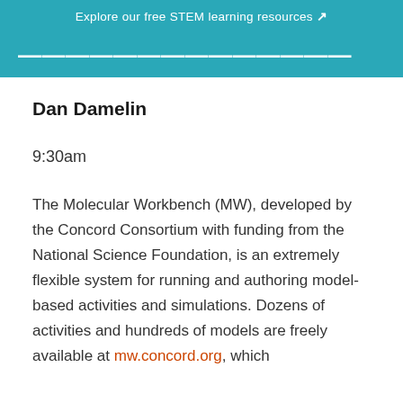Explore our free STEM learning resources ↗
[Partially visible title in teal banner]
Dan Damelin
9:30am
The Molecular Workbench (MW), developed by the Concord Consortium with funding from the National Science Foundation, is an extremely flexible system for running and authoring model-based activities and simulations. Dozens of activities and hundreds of models are freely available at mw.concord.org, which